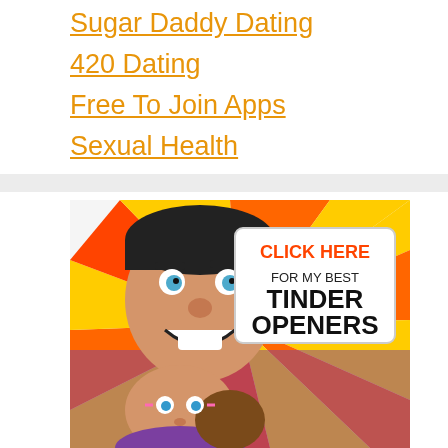Sugar Daddy Dating
420 Dating
Free To Join Apps
Sexual Health
[Figure (illustration): Comic-style cartoon illustration of a man and woman. A sign reads 'CLICK HERE FOR MY BEST TINDER OPENERS' with colorful sunburst background in red, orange, and yellow.]